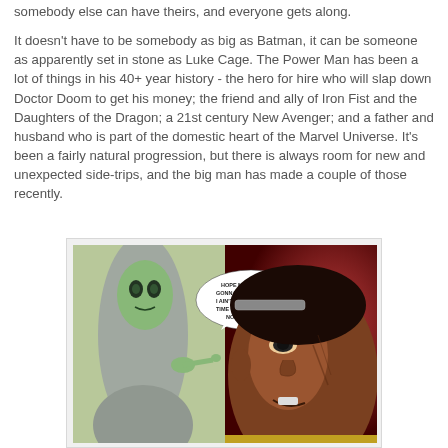somebody else can have theirs, and everyone gets along.
It doesn't have to be somebody as big as Batman, it can be someone as apparently set in stone as Luke Cage. The Power Man has been a lot of things in his 40+ year history - the hero for hire who will slap down Doctor Doom to get his money; the friend and ally of Iron Fist and the Daughters of the Dragon; a 21st century New Avenger; and a father and husband who is part of the domestic heart of the Marvel Universe. It's been a fairly natural progression, but there is always room for new and unexpected side-trips, and the big man has made a couple of those recently.
[Figure (illustration): Comic book panel showing two characters facing each other. On the left is a green-skinned alien or monster character, and on the right is a large-faced dark-skinned male character (Luke Cage / Power Man) with a speech bubble reading 'HOPE NOT GONNA HAPPEN. I AIN'T GOT NO TIME FOR YOUR NONSENSE.' The art style is modern comic book illustration.]